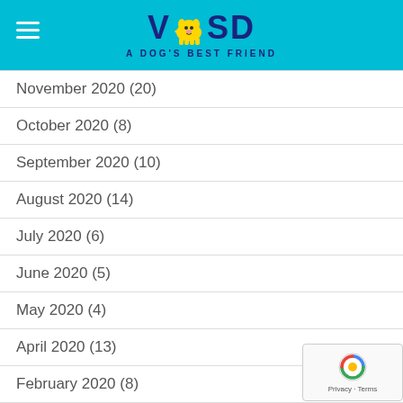[Figure (logo): VOSD - A Dog's Best Friend logo on cyan/teal header background with hamburger menu icon]
November 2020 (20)
October 2020 (8)
September 2020 (10)
August 2020 (14)
July 2020 (6)
June 2020 (5)
May 2020 (4)
April 2020 (13)
February 2020 (8)
January 2020 (5)
December 2019 (7)
November 2019 (1)